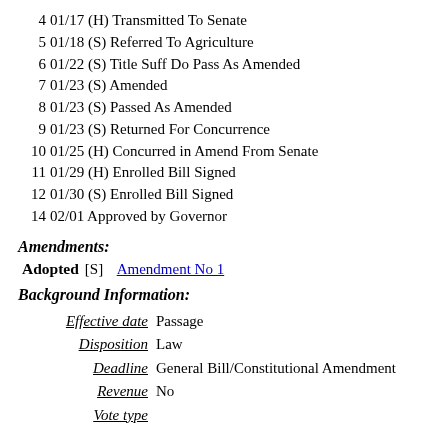4  01/17 (H) Transmitted To Senate
5  01/18 (S) Referred To Agriculture
6  01/22 (S) Title Suff Do Pass As Amended
7  01/23 (S) Amended
8  01/23 (S) Passed As Amended
9  01/23 (S) Returned For Concurrence
10  01/25 (H) Concurred in Amend From Senate
11  01/29 (H) Enrolled Bill Signed
12  01/30 (S) Enrolled Bill Signed
14  02/01 Approved by Governor
Amendments:
Adopted [S] Amendment No 1
Background Information:
Effective date  Passage
Disposition  Law
Deadline  General Bill/Constitutional Amendment
Revenue  No
Vote type